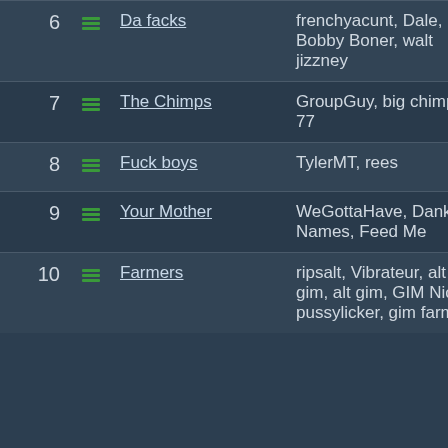| Rank | Icon | Group Name | Members |
| --- | --- | --- | --- |
| 6 |  | Da facks | frenchyacunt, Dale, Bobby Boner, walt jizzney |
| 7 |  | The Chimps | GroupGuy, big chimp 77 |
| 8 |  | Fuck boys | TylerMT, rees |
| 9 |  | Your Mother | WeGottaHave, Dank Names, Feed Me |
| 10 |  | Farmers | ripsalt, Vibrateur, alt 2 gim, alt gim, GIM Nick, pussylicker, gim farmer |